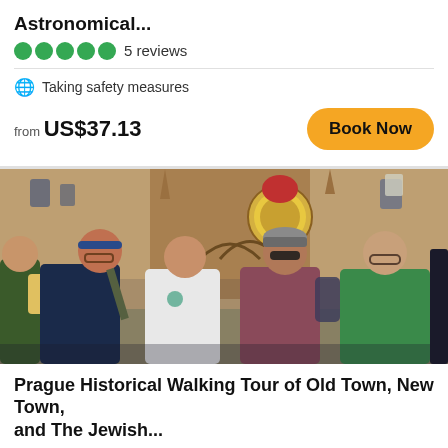Astronomical...
5 reviews
Taking safety measures
from US$37.13
[Figure (photo): Group of four young men standing in front of Prague's Astronomical Clock tower, posing for a photo on a walking tour]
Prague Historical Walking Tour of Old Town, New Town, and The Jewish...
19 reviews